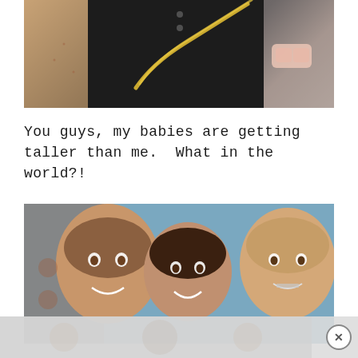[Figure (photo): Cropped photo of a person wearing a black sleeveless top with a gold chain necklace and pink sunglasses visible]
You guys, my babies are getting taller than me.  What in the world?!
[Figure (photo): Photo of three children smiling closely together — a boy on the left with short brown hair, a girl in the middle with dark hair, and a girl on the right with light brown hair wearing braces]
[Figure (photo): Advertisement banner at the bottom with blurred/faded imagery and a close (X) button]